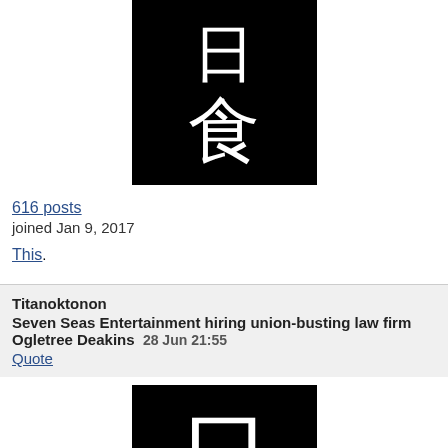[Figure (illustration): Black square with white Japanese kanji characters (日食 - solar eclipse)]
616 posts
joined Jan 9, 2017
This.
Titanoktonon
Seven Seas Entertainment hiring union-busting law firm Ogletree Deakins  28 Jun 21:55
Quote
[Figure (illustration): Black square with white Japanese kanji character (日)]